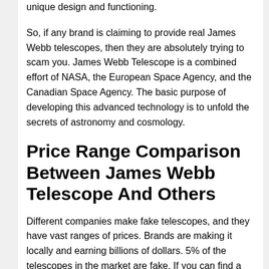unique design and functioning.
So, if any brand is claiming to provide real James Webb telescopes, then they are absolutely trying to scam you. James Webb Telescope is a combined effort of NASA, the European Space Agency, and the Canadian Space Agency. The basic purpose of developing this advanced technology is to unfold the secrets of astronomy and cosmology.
Price Range Comparison Between James Webb Telescope And Others
Different companies make fake telescopes, and they have vast ranges of prices. Brands are making it locally and earning billions of dollars. 5% of the telescopes in the market are fake. If you can find a James Webb Telescope around 400$-1000$, it might be fake, while the top-quality branded James Webb Telescope costs around $9.7 billion. Price is the direct key to spot an original 60 minutes James...